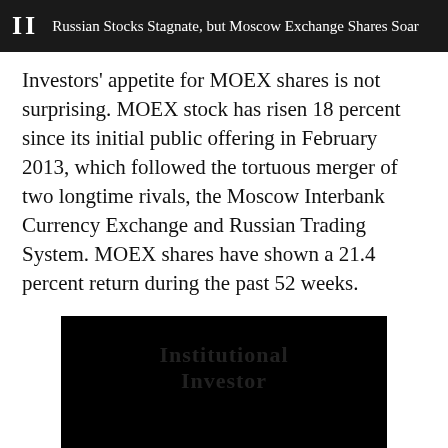II  Russian Stocks Stagnate, but Moscow Exchange Shares Soar
Investors' appetite for MOEX shares is not surprising. MOEX stock has risen 18 percent since its initial public offering in February 2013, which followed the tortuous merger of two longtime rivals, the Moscow Interbank Currency Exchange and Russian Trading System. MOEX shares have shown a 21.4 percent return during the past 52 weeks.
[Figure (photo): Dark/black image with Institutional Investor watermark text visible]
[Figure (other): Social sharing buttons: Facebook, Twitter, and plus/share icon]